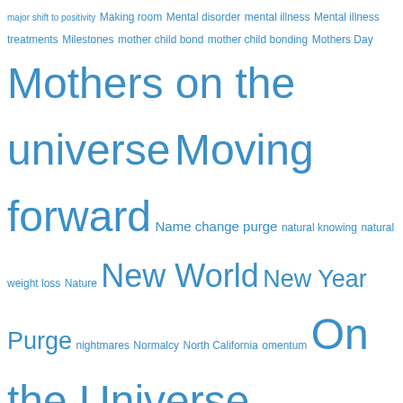[Figure (other): Tag cloud of topics related to purging, mental health, universe, and spirituality. Tags appear in various font sizes indicating frequency, all in blue color.]